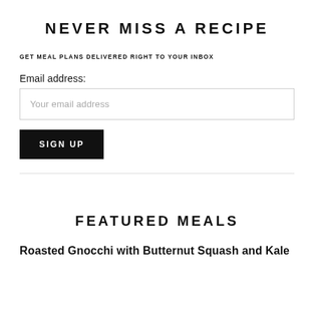NEVER MISS A RECIPE
GET MEAL PLANS DELIVERED RIGHT TO YOUR INBOX
Email address:
Your email address
SIGN UP
FEATURED MEALS
Roasted Gnocchi with Butternut Squash and Kale